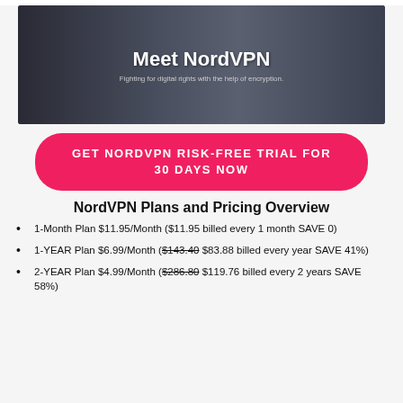[Figure (photo): Banner image showing people working at laptops in a meeting room with dark overlay. White text says 'Meet NordVPN' and subtitle 'Fighting for digital rights with the help of encryption.']
GET NORDVPN RISK-FREE TRIAL FOR 30 DAYS NOW
NordVPN Plans and Pricing Overview
1-Month Plan $11.95/Month ($11.95 billed every 1 month SAVE 0)
1-YEAR Plan $6.99/Month ($143.40 $83.88 billed every year SAVE 41%)
2-YEAR Plan $4.99/Month ($286.80 $119.76 billed every 2 years SAVE 58%)